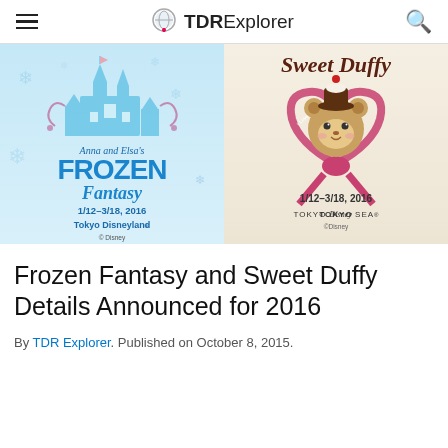TDRExplorer
[Figure (illustration): Anna and Elsa's Frozen Fantasy promotional art for Tokyo Disneyland, 1/12-3/18, 2016, with blue ice castle and snowflakes]
[Figure (illustration): Sweet Duffy promotional art for Tokyo DisneySea, 1/12-3/18, 2016, featuring Duffy bear in a heart-shaped ribbon with chocolate hat]
Frozen Fantasy and Sweet Duffy Details Announced for 2016
By TDR Explorer. Published on October 8, 2015.